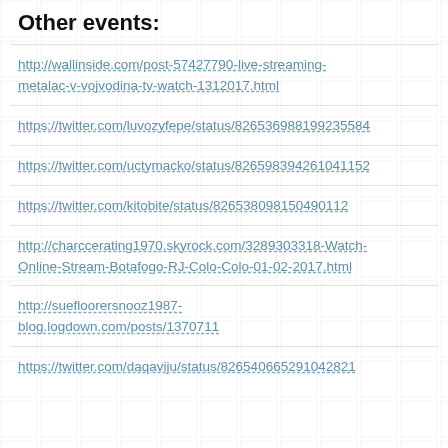Other events:
http://wallinside.com/post-57427790-live-streaming-metalac-v-vojvodina-tv-watch-1312017.html
https://twitter.com/luvozyfepe/status/826536988199235584
https://twitter.com/uctymacko/status/826598394261041152
https://twitter.com/kitobite/status/826538098150490112
http://charccerating1970.skyrock.com/3289303318-Watch-Online-Stream-Botafogo-RJ-Colo-Colo-01-02-2017.html
http://suefloorersnooz1987-blog.logdown.com/posts/1370711
https://twitter.com/daqaviju/status/826540665291042821